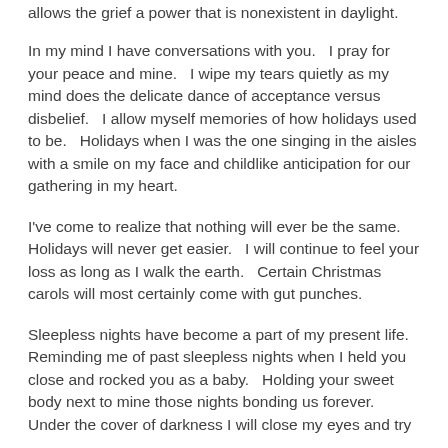allows the grief a power that is nonexistent in daylight.
In my mind I have conversations with you.   I pray for your peace and mine.   I wipe my tears quietly as my mind does the delicate dance of acceptance versus disbelief.   I allow myself memories of how holidays used to be.   Holidays when I was the one singing in the aisles with a smile on my face and childlike anticipation for our gathering in my heart.
I've come to realize that nothing will ever be the same.  Holidays will never get easier.   I will continue to feel your loss as long as I walk the earth.   Certain Christmas carols will most certainly come with gut punches.
Sleepless nights have become a part of my present life.  Reminding me of past sleepless nights when I held you close and rocked you as a baby.   Holding your sweet body next to mine those nights bonding us forever.  Under the cover of darkness I will close my eyes and try